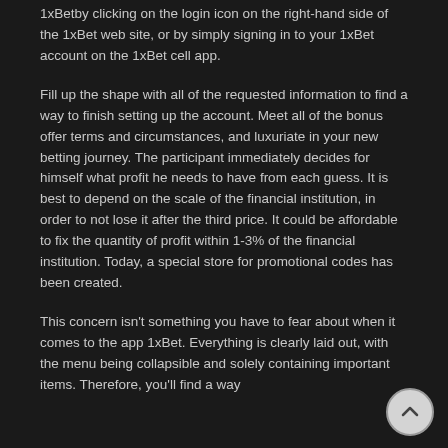1xBetby clicking on the login icon on the right-hand side of the 1xBet web site, or by simply signing in to your 1xBet account on the 1xBet cell app.
Fill up the shape with all of the requested information to find a way to finish setting up the account. Meet all of the bonus offer terms and circumstances, and luxuriate in your new betting journey. The participant immediately decides for himself what profit he needs to have from each guess. It is best to depend on the scale of the financial institution, in order to not lose it after the third price. It could be affordable to fix the quantity of profit within 1-3% of the financial institution. Today, a special store for promotional codes has been created.
This concern isn't something you have to fear about when it comes to the app 1xBet. Everything is clearly laid out, with the menu being collapsible and solely containing important items. Therefore, you'll find a way